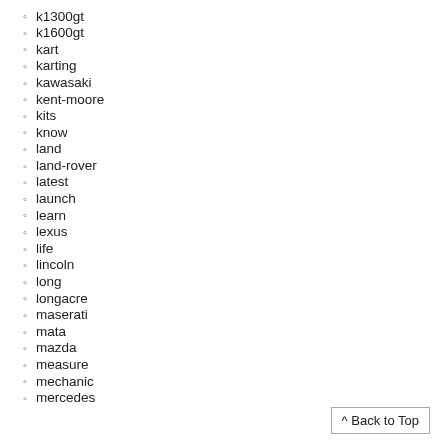k1300gt
k1600gt
kart
karting
kawasaki
kent-moore
kits
know
land
land-rover
latest
launch
learn
lexus
life
lincoln
long
longacre
maserati
mata
mazda
measure
mechanic
mercedes
^ Back to Top